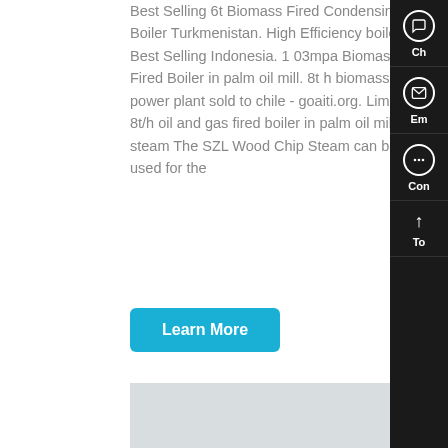Best Selling 6t Biomass Fired Condensing Boiler Turkmenistan. High Efficiency boiler 8t Best Selling Indonesia. 1 03mpa Biomass Fired Boiler in palm oil mill. 8t h biomass power plant sold to chile - goaiti.org. Liming · 8t/h oil and gas fired boiler in palm oil mill top steam The SZL Wood Chip Steam can be used for the
Learn More
[Figure (photo): Industrial boiler facility with yellow pipes, white cylindrical tanks, and blue equipment. WhatsApp contact bubble overlay with 'Contact us now!' message.]
Hey, we are live 24/7. How may I help you?
1t Biomass Boiler Hot Selling